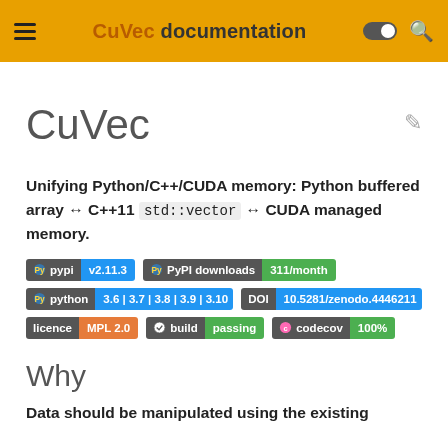CuVec documentation
CuVec
Unifying Python/C++/CUDA memory: Python buffered array ↔ C++11 std::vector ↔ CUDA managed memory.
[Figure (other): Badges: pypi v2.11.3, PyPI downloads 311/month, python 3.6|3.7|3.8|3.9|3.10, DOI 10.5281/zenodo.4446211, licence MPL 2.0, build passing, codecov 100%]
Why
Data should be manipulated using the existing